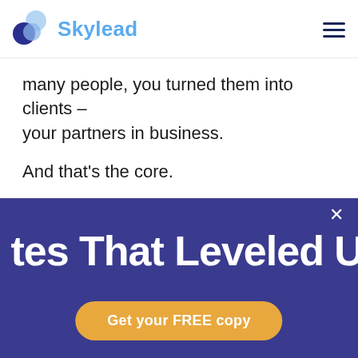Skylead
many people, you turned them into clients – your partners in business.
And that's the core.
But actually, there is more we can do for you.
We use cookies on our website to give you the most relevant experience by remembering your preferences and repeat visits. By clicking "Accept All"
tes That Leveled Up
Get your FREE copy